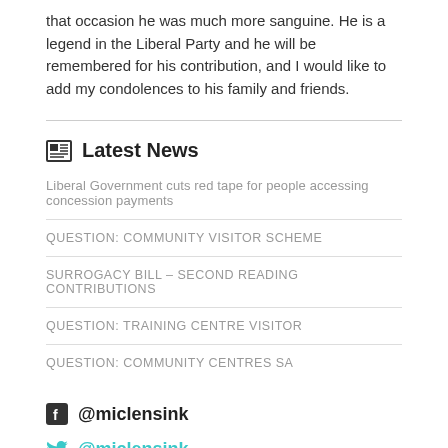that occasion he was much more sanguine. He is a legend in the Liberal Party and he will be remembered for his contribution, and I would like to add my condolences to his family and friends.
Latest News
Liberal Government cuts red tape for people accessing concession payments
QUESTION: COMMUNITY VISITOR SCHEME
SURROGACY BILL - SECOND READING CONTRIBUTIONS
QUESTION: TRAINING CENTRE VISITOR
QUESTION: COMMUNITY CENTRES SA
@miclensink
@miclensink